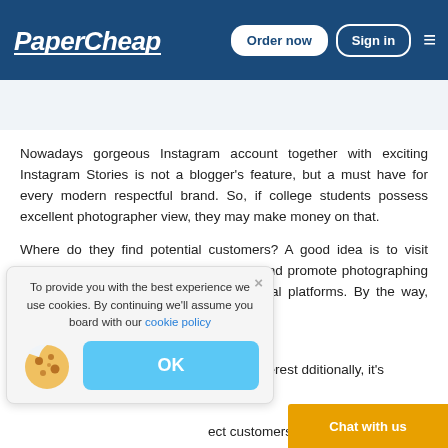PaperCheap — Order now | Sign in
[Figure (photo): Partial photo of a person, cropped at top of content area]
Nowadays gorgeous Instagram account together with exciting Instagram Stories is not a blogger's feature, but a must have for every modern respectful brand. So, if college students possess excellent photographer view, they may make money on that.
Where do they find potential customers? A good idea is to visit some favorite shop or the nearest café and promote photographing skills to decorate their accounts on social platforms. By the way, such photo style as flat [go to Pinterest] Additionally, it's [ect customers,] students may
To provide you with the best experience we use cookies. By continuing we'll assume you board with our cookie policy
OK
Chat with us